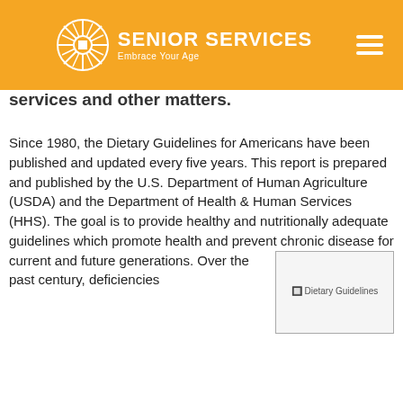Senior Services — Embrace Your Age
services and other matters.
Since 1980, the Dietary Guidelines for Americans have been published and updated every five years. This report is prepared and published by the U.S. Department of Human Agriculture (USDA) and the Department of Health & Human Services (HHS). The goal is to provide healthy and nutritionally adequate guidelines which promote health and prevent chronic disease for current and future generations.
[Figure (illustration): Dietary Guidelines image placeholder]
Over the past century, deficiencies